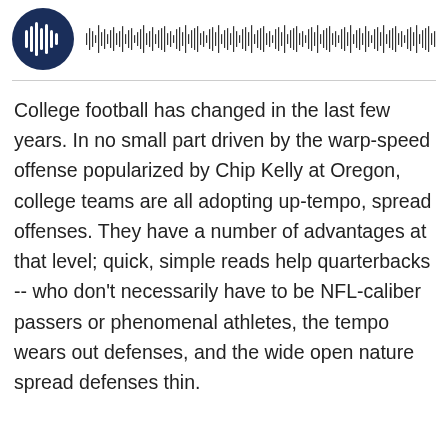[Figure (other): Podcast player UI with circular dark blue icon showing audio waveform bars on left, and a horizontal audio waveform/progress bar on right]
College football has changed in the last few years. In no small part driven by the warp-speed offense popularized by Chip Kelly at Oregon, college teams are all adopting up-tempo, spread offenses. They have a number of advantages at that level; quick, simple reads help quarterbacks -- who don't necessarily have to be NFL-caliber passers or phenomenal athletes, the tempo wears out defenses, and the wide open nature spread defenses thin.